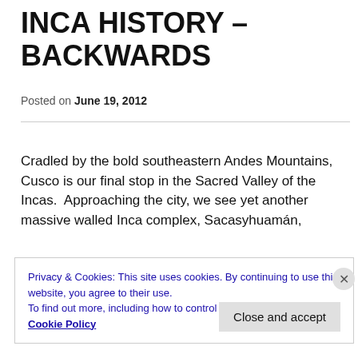INCA HISTORY – BACKWARDS
Posted on June 19, 2012
Cradled by the bold southeastern Andes Mountains, Cusco is our final stop in the Sacred Valley of the Incas.  Approaching the city, we see yet another massive walled Inca complex, Sacasyhuamán,
Privacy & Cookies: This site uses cookies. By continuing to use this website, you agree to their use.
To find out more, including how to control cookies, see here:
Cookie Policy